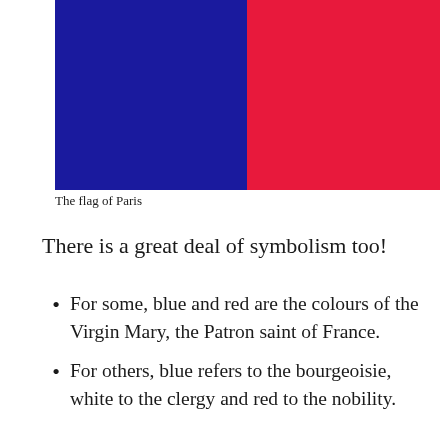[Figure (illustration): The flag of Paris — left half dark navy blue, right half crimson red, displayed as two colored rectangles side by side]
The flag of Paris
There is a great deal of symbolism too!
For some, blue and red are the colours of the Virgin Mary, the Patron saint of France.
For others, blue refers to the bourgeoisie, white to the clergy and red to the nobility.